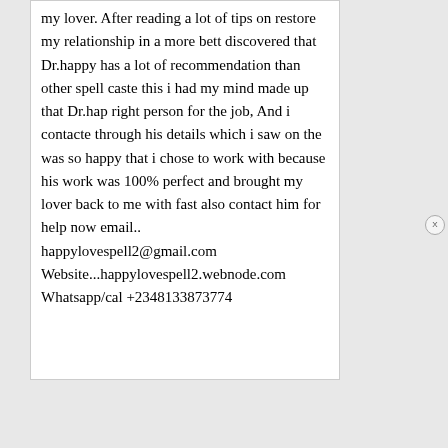my lover. After reading a lot of tips on restore my relationship in a more bett discovered that Dr.happy has a lot of recommendation than other spell caste this i had my mind made up that Dr.hap right person for the job, And i contacte through his details which i saw on the was so happy that i chose to work with because his work was 100% perfect and brought my lover back to me with fast also contact him for help now email.. happylovespell2@gmail.com Website...happylovespell2.webnode.com Whatsapp/cal +2348133873774
[Figure (other): Advertisement sidebar with search header and 4 numbered links: 1. SWEET LOVE MESSAGES, 2. BEAUTIFUL LOVE QUOTES, 3. FUNNY LOVE QUOTES, 4. LOVE QUOTES FOR HIM. Each item has a green arrow chevron. Eye icon next to search bar. Close (X) button at bottom.]